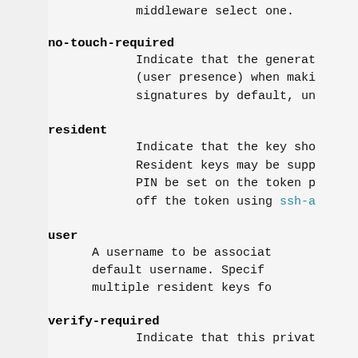middleware select one.
no-touch-required
Indicate that the generat (user presence) when maki signatures by default, un
resident
Indicate that the key sho Resident keys may be supp PIN be set on the token p off the token using ssh-a
user
A username to be associat default username. Specif multiple resident keys fo
verify-required
Indicate that this privat